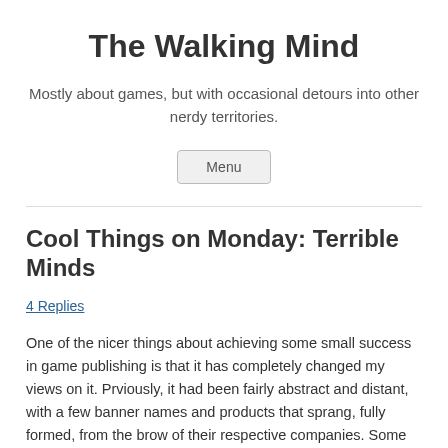The Walking Mind
Mostly about games, but with occasional detours into other nerdy territories.
Menu
Cool Things on Monday: Terrible Minds
4 Replies
One of the nicer things about achieving some small success in game publishing is that it has completely changed my views on it. Prviously, it had been fairly abstract and distant, with a few banner names and products that sprang, fully formed, from the brow of their respective companies. Some of you are laughing, I know I am, but that's what it looked like